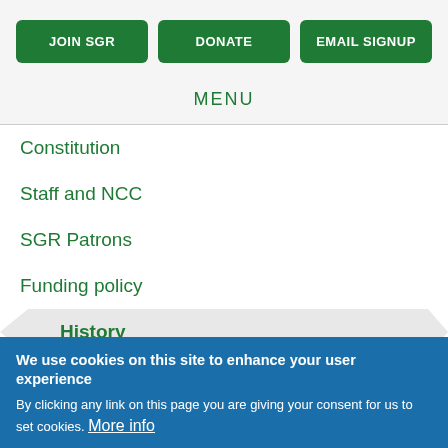JOIN SGR
DONATE
EMAIL SIGNUP
MENU
Constitution
Staff and NCC
SGR Patrons
Funding policy
History
30th Anniversary
We use cookies on this site to enhance your user experience
By clicking any link on this page you are giving your consent for us to set cookies. More info